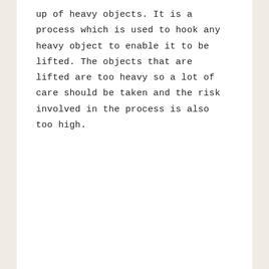up of heavy objects. It is a process which is used to hook any heavy object to enable it to be lifted. The objects that are lifted are too heavy so a lot of care should be taken and the risk involved in the process is also too high.
Reply
SUPPORT SERVICES says
MARCH 12, 2020 AT 4:14